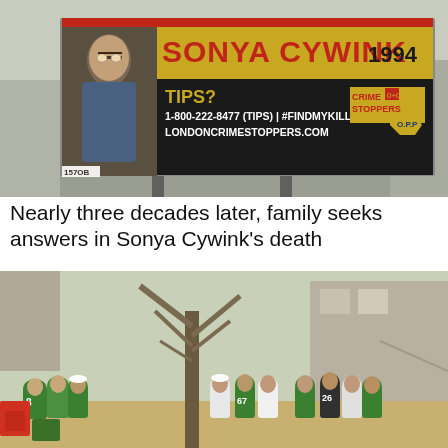[Figure (photo): Billboard showing Sonya Cywink's photo (woman with glasses), text reading 'SONYA CYWINK 1994', 'TIPS? 1-800-222-8477 (TIPS) | #FINDMYKILLER LONDONCRIMESTOPPERS.COM', with Crime Stoppers and OPP logos]
Nearly three decades later, family seeks answers in Sonya Cywink's death
[Figure (photo): Outdoor crowd scene with people wearing green jerseys and white t-shirts gathered near a tree and residential building on a sunny day]